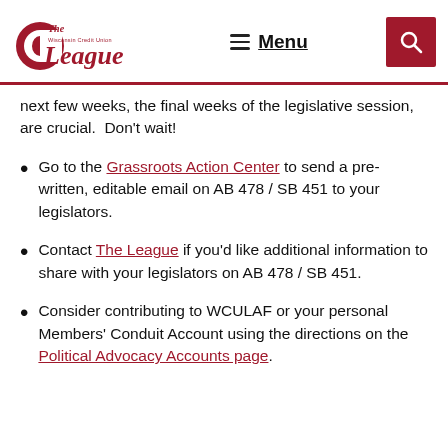The Wisconsin Credit Union League — Menu [navigation header with logo and search]
next few weeks, the final weeks of the legislative session, are crucial.  Don't wait!
Go to the Grassroots Action Center to send a pre-written, editable email on AB 478 / SB 451 to your legislators.
Contact The League if you'd like additional information to share with your legislators on AB 478 / SB 451.
Consider contributing to WCULAF or your personal Members' Conduit Account using the directions on the Political Advocacy Accounts page.